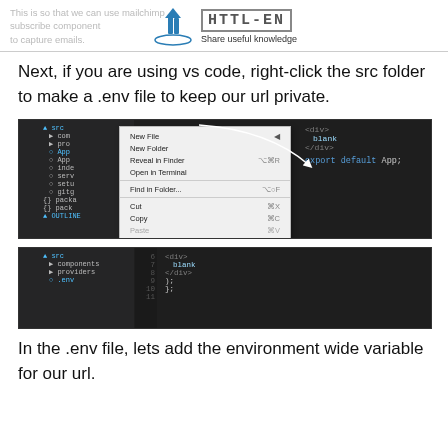This is so that we can use mailchimp subscribe component to capture emails. | HTTL-EN | Share useful knowledge
Next, if you are using vs code, right-click the src folder to make a .env file to keep our url private.
[Figure (screenshot): VS Code editor showing file explorer with context menu open over src folder. Context menu shows options: New File, New Folder, Reveal in Finder, Open in Terminal, Find in Folder, Cut, Copy, Paste, Copy Path, Copy Relative Path, Rename, Delete. Code editor visible on right showing <div> blank </div> code snippet.]
[Figure (screenshot): VS Code editor showing file explorer with src folder expanded, components and providers folders visible, .env file highlighted. Code editor showing lines 6-11 with <div> blank </div> and }; code.]
In the .env file, lets add the environment wide variable for our url.